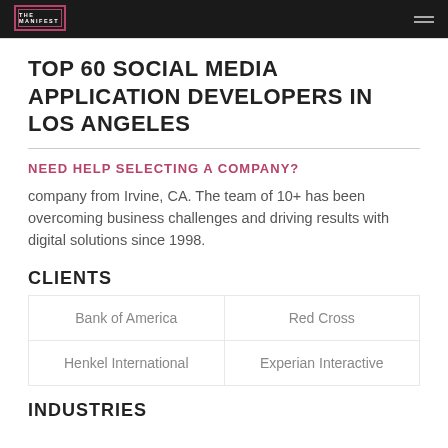THE MANIFEST
TOP 60 SOCIAL MEDIA APPLICATION DEVELOPERS IN LOS ANGELES
NEED HELP SELECTING A COMPANY?
company from Irvine, CA. The team of 10+ has been overcoming business challenges and driving results with digital solutions since 1998.
CLIENTS
| Bank of America | Red Cross |
| Henkel International | Experian Interactive |
INDUSTRIES